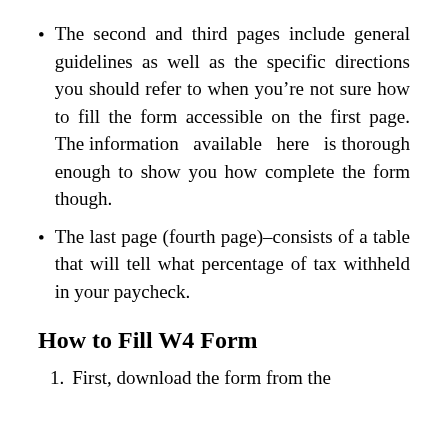The second and third pages include general guidelines as well as the specific directions you should refer to when you’re not sure how to fill the form accessible on the first page. The information available here is thorough enough to show you how complete the form though.
The last page (fourth page)–consists of a table that will tell what percentage of tax withheld in your paycheck.
How to Fill W4 Form
First, download the form from the